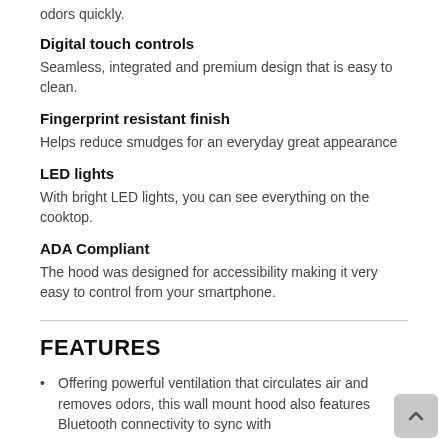odors quickly.
Digital touch controls
Seamless, integrated and premium design that is easy to clean.
Fingerprint resistant finish
Helps reduce smudges for an everyday great appearance
LED lights
With bright LED lights, you can see everything on the cooktop.
ADA Compliant
The hood was designed for accessibility making it very easy to control from your smartphone.
FEATURES
Offering powerful ventilation that circulates air and removes odors, this wall mount hood also features Bluetooth connectivity to sync with